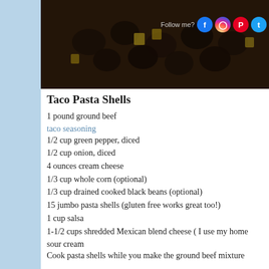[Figure (photo): Close-up food photograph showing black beans, colorful vegetables (appears to be corn and peppers) in a taco pasta dish, dark moody lighting with social media follow icons overlaid]
Taco Pasta Shells
1 pound ground beef
taco seasoning
1/2 cup green pepper, diced
1/2 cup onion, diced
4 ounces cream cheese
1/3 cup whole corn (optional)
1/3 cup drained cooked black beans (optional)
15 jumbo pasta shells (gluten free works great too!)
1 cup salsa
1-1/2 cups shredded Mexican blend cheese ( I use my home
sour cream
Cook pasta shells while you make the ground beef mixture